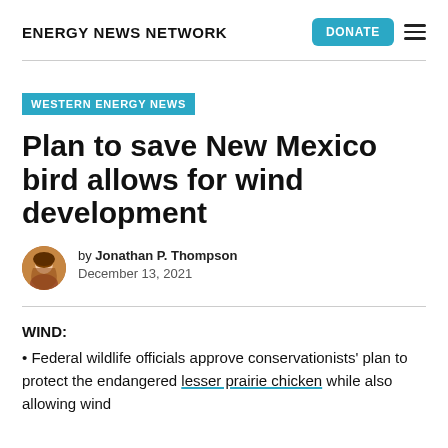ENERGY NEWS NETWORK
WESTERN ENERGY NEWS
Plan to save New Mexico bird allows for wind development
by Jonathan P. Thompson
December 13, 2021
WIND:
Federal wildlife officials approve conservationists' plan to protect the endangered lesser prairie chicken while also allowing wind